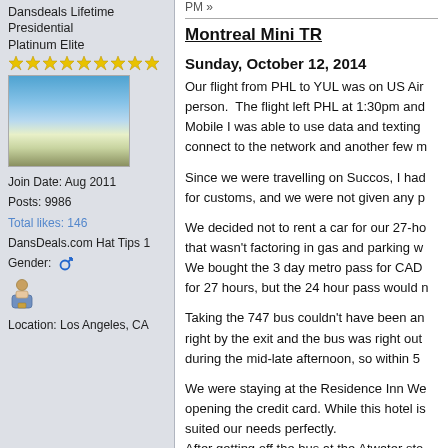Dansdeals Lifetime Presidential Platinum Elite
[Figure (illustration): Star rating row with 9 gold stars]
[Figure (photo): Coastal beach photo with ocean waves and a road along the shore]
Join Date: Aug 2011
Posts: 9986
Total likes: 146
DansDeals.com Hat Tips 1
Gender: [male icon]
[Figure (illustration): Small user/person icon]
Location: Los Angeles, CA
PM »
Montreal Mini TR
Sunday, October 12, 2014
Our flight from PHL to YUL was on US Air person.  The flight left PHL at 1:30pm and Mobile I was able to use data and texting connect to the network and another few m
Since we were travelling on Succos, I had for customs, and we were not given any p
We decided not to rent a car for our 27-ho that wasn't factoring in gas and parking w We bought the 3 day metro pass for CAD for 27 hours, but the 24 hour pass would n
Taking the 747 bus couldn't have been an right by the exit and the bus was right out during the mid-late afternoon, so within 5
We were staying at the Residence Inn We opening the credit card. While this hotel is suited our needs perfectly.
After getting off the bus at the Atwater sto